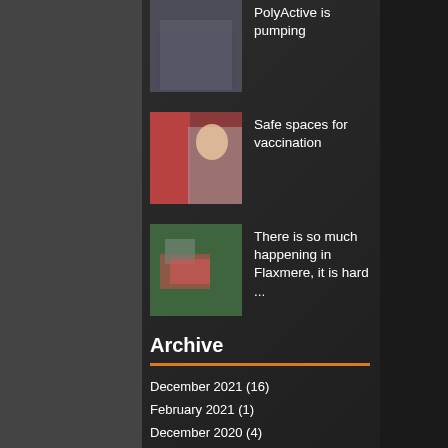[Figure (photo): Group photo of people standing in a venue, partially cropped at top]
PolyActive is pumping
[Figure (photo): Person being vaccinated by a healthcare worker wearing a mask and white t-shirt]
Safe spaces for vaccination
[Figure (photo): Aerial view of a building surrounded by green trees and landscaping]
There is so much happening in Flaxmere, it is hard ...
Archive
December 2021 (16)
February 2021 (1)
December 2020 (4)
October 2020 (5)
July 2020 (2)
December 2019 (9)